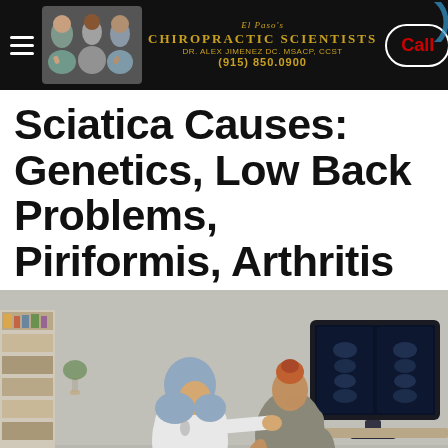El Paso's Chiropractic Scientists | Dr. Alex Jimenez DC. MSACP, CCST | (915) 850.0900 | Call
Sciatica Causes: Genetics, Low Back Problems, Piriformis, Arthritis
[Figure (photo): A female doctor wearing a hijab and white coat examines a male patient's back in a clinical setting with X-ray images visible on a monitor in the background.]